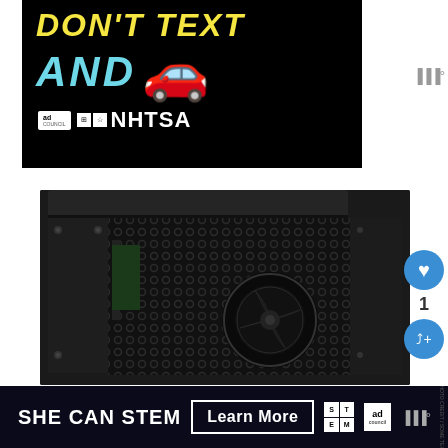[Figure (photo): Public service advertisement with black background showing 'DON'T TEXT AND' in yellow italic bold text, with 'AND' in cyan and a red car emoji, along with Ad Council and NHTSA logos]
[Figure (photo): Photo of a black PC computer case showing mesh side panel with hexagonal ventilation holes and a fan, dark metallic finish with top panel]
[Figure (infographic): Bottom banner advertisement reading 'SHE CAN STEM' with a 'Learn More' button, STEM logo grid, Ad Council logo, wifi icon on dark navy background]